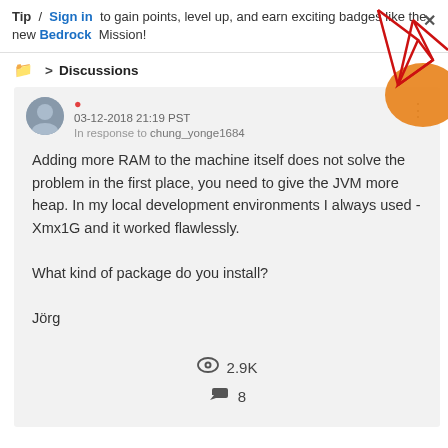Tip / Sign in to gain points, level up, and earn exciting badges like the new Bedrock Mission!
Discussions
03-12-2018 21:19 PST
In response to chung_yonge1684
Adding more RAM to the machine itself does not solve the problem in the first place, you need to give the JVM more heap. In my local development environments I always used -Xmx1G and it worked flawlessly.

What kind of package do you install?

Jörg
2.9K
8